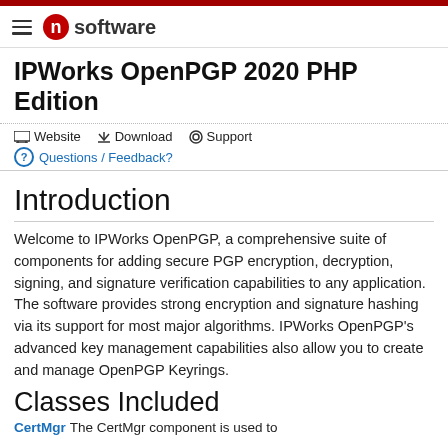IPWorks OpenPGP 2020 PHP Edition
Website   Download   Support
Questions / Feedback?
Introduction
Welcome to IPWorks OpenPGP, a comprehensive suite of components for adding secure PGP encryption, decryption, signing, and signature verification capabilities to any application. The software provides strong encryption and signature hashing via its support for most major algorithms. IPWorks OpenPGP's advanced key management capabilities also allow you to create and manage OpenPGP Keyrings.
Classes Included
CertMgr  The CertMgr component is used to...